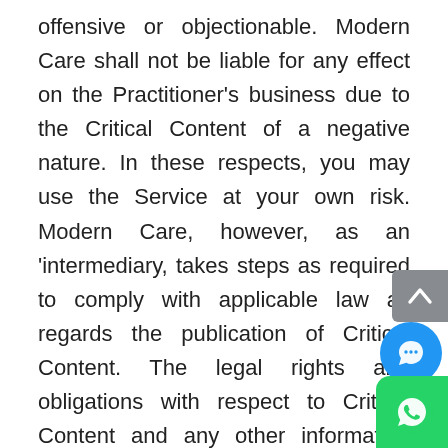offensive or objectionable. Modern Care shall not be liable for any effect on the Practitioner's business due to the Critical Content of a negative nature. In these respects, you may use the Service at your own risk. Modern Care, however, as an 'intermediary, takes steps as required to comply with applicable law as regards the publication of Critical Content. The legal rights and obligations with respect to Critical Content and any other information sought to be published by Users are further detailed in Clauses 3.9 and 5 of these Terms.
4.3.5 Modern Care will take down information under standards consistent with applicable law, and shall in no